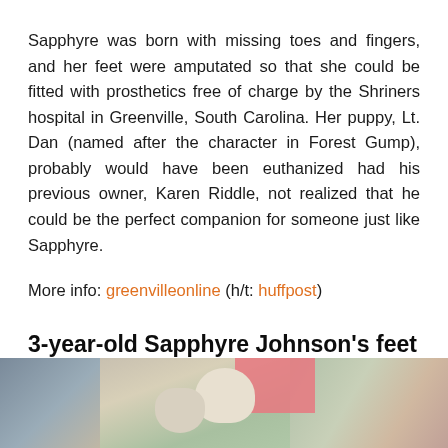Sapphyre was born with missing toes and fingers, and her feet were amputated so that she could be fitted with prosthetics free of charge by the Shriners hospital in Greenville, South Carolina. Her puppy, Lt. Dan (named after the character in Forest Gump), probably would have been euthanized had his previous owner, Karen Riddle, not realized that he could be the perfect companion for someone just like Sapphyre.
More info: greenvilleonline (h/t: huffpost)
3-year-old Sapphyre Johnson's feet were amputated when she was 1
[Figure (photo): Photo of a young girl with a dog at a playground, partially visible at bottom of page]